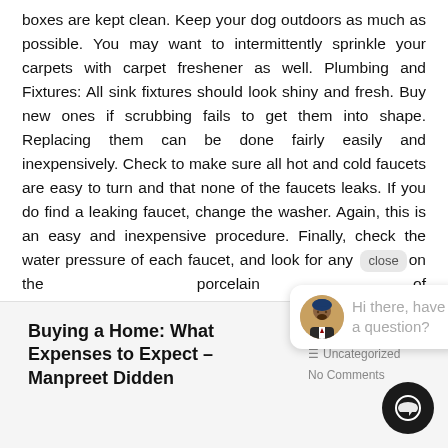boxes are kept clean. Keep your dog outdoors as much as possible. You may want to intermittently sprinkle your carpets with carpet freshener as well. Plumbing and Fixtures: All sink fixtures should look shiny and fresh. Buy new ones if scrubbing fails to get them into shape. Replacing them can be done fairly easily and inexpensively. Check to make sure all hot and cold faucets are easy to turn and that none of the faucets leaks. If you do find a leaking faucet, change the washer. Again, this is an easy and inexpensive procedure. Finally, check the water pressure of each faucet, and look for any [close] on the porcelain of th[e ...] these bases, your [...] the market. Congr[...]
[Figure (other): Chat widget overlay showing avatar of a man in a suit and text 'Hi there, have a question?']
Buying a Home: What Expenses to Expect – Manpreet Didden
admin • July 16 • Uncategorized • No Comments